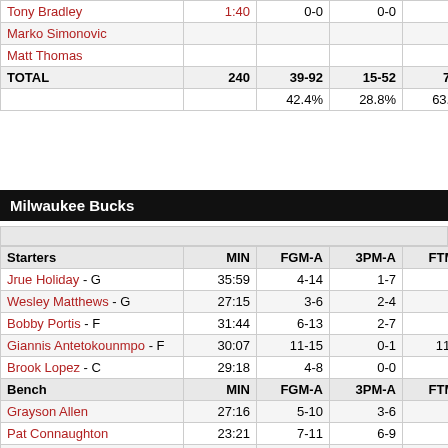|  | MIN | FGM-A | 3PM-A | FTM-A |
| --- | --- | --- | --- | --- |
| Tony Bradley | 1:40 | 0-0 | 0-0 | 0-0 |
| Marko Simonovic |  |  |  |  |
| Matt Thomas |  |  |  |  |
| TOTAL | 240 | 39-92 | 15-52 | 7-11 |
|  |  | 42.4% | 28.8% | 63.6% |
Milwaukee Bucks
| Starters | MIN | FGM-A | 3PM-A | FTM-A |
| --- | --- | --- | --- | --- |
| Jrue Holiday - G | 35:59 | 4-14 | 1-7 | 1-2 |
| Wesley Matthews - G | 27:15 | 3-6 | 2-4 | 0-0 |
| Bobby Portis - F | 31:44 | 6-13 | 2-7 | 0-0 |
| Giannis Antetokounmpo - F | 30:07 | 11-15 | 0-1 | 11-14 |
| Brook Lopez - C | 29:18 | 4-8 | 0-0 | 4-4 |
| Bench | MIN | FGM-A | 3PM-A | FTM-A |
| Grayson Allen | 27:16 | 5-10 | 3-6 | 0-0 |
| Pat Connaughton | 23:21 | 7-11 | 6-9 | 0-0 |
| Jevon Carter | 21:20 | 3-6 | 0-1 | 0-0 |
| Serge Ibaka | 6:58 | 0-4 | 0-1 | 0-0 |
| Thanasis Antetokounmpo | 1:42 | 0-0 | 0-0 | 0-0 |
| Rayjon Tucker | 1:40 | 0-0 | 0-0 | 0-0 |
| Jordan Nwora | 1:40 | 0-0 | 0-0 | 0-0 |
| Luca Vildoza | 1:40 | 0-0 | 0-0 | 0-0 |
| TOTAL | 240 | 43-87 | 14-36 | 16-20 |
|  |  | 49.4% | 38.9% | 80.0% |